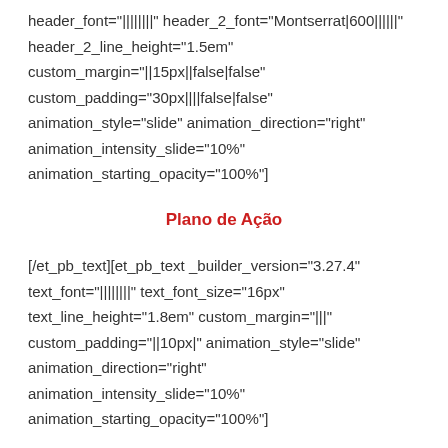header_font="||||||||" header_2_font="Montserrat|600||||||" header_2_line_height="1.5em" custom_margin="||15px||false|false" custom_padding="30px||||false|false" animation_style="slide" animation_direction="right" animation_intensity_slide="10%" animation_starting_opacity="100%"]
Plano de Ação
[/et_pb_text][et_pb_text _builder_version="3.27.4" text_font="||||||||" text_font_size="16px" text_line_height="1.8em" custom_margin="|||" custom_padding="||10px|" animation_style="slide" animation_direction="right" animation_intensity_slide="10%" animation_starting_opacity="100%"]